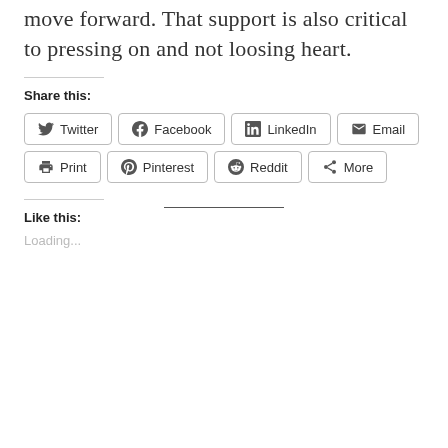move forward. That support is also critical to pressing on and not loosing heart.
Share this:
Twitter Facebook LinkedIn Email Print Pinterest Reddit More
Like this:
Loading...